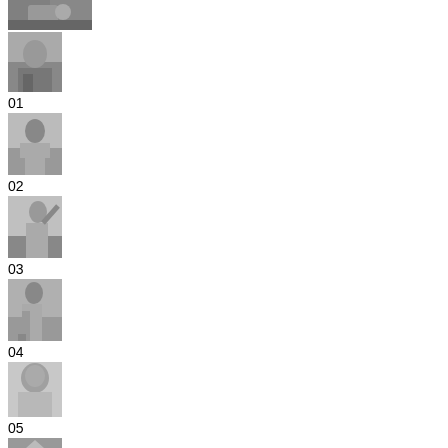[Figure (photo): Black and white photo - top cropped image, partial view]
[Figure (photo): Black and white photo - person crouching/working]
01
[Figure (photo): Black and white photo - person crouching outdoors]
02
[Figure (photo): Black and white photo - person with raised arm]
03
[Figure (photo): Black and white photo - person standing in field]
04
[Figure (photo): Black and white photo - young child looking down]
05
[Figure (photo): Black and white photo - tent or shelter, partially visible]